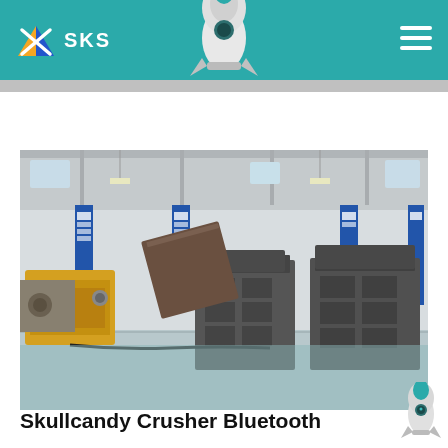SKS
[Figure (photo): Factory floor showing industrial crushers and heavy mining equipment in a large warehouse with blue banners and pillars]
Skullcandy Crusher Bluetooth Wireless Over-Ear Headphones